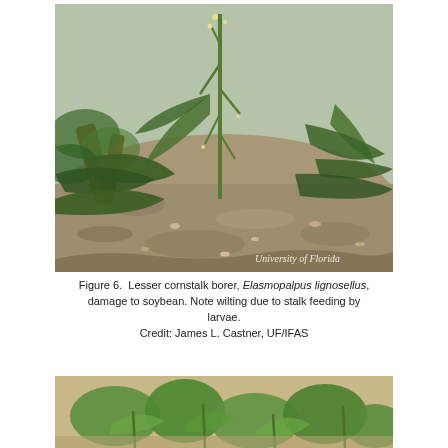[Figure (photo): Photograph of soybean plant showing damage from lesser cornstalk borer (Elasmopalpus lignosellus). The plant shows wilting with leaves drooping. The background is sandy/gravelly soil. A 'University of Florida' watermark appears in the lower right corner.]
Figure 6.  Lesser cornstalk borer, Elasmopalpus lignosellus, damage to soybean. Note wilting due to stalk feeding by larvae.
Credit: James L. Castner, UF/IFAS
[Figure (photo): Partial photograph showing green soybean plants growing in sandy soil, taken from a lower angle.]